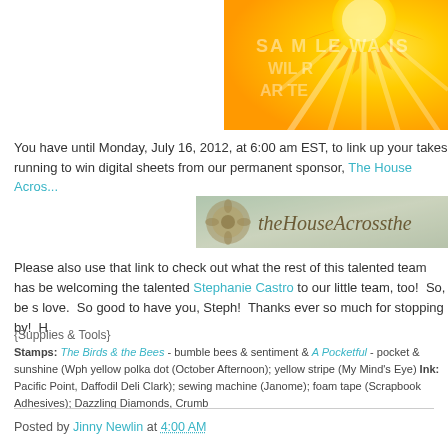[Figure (illustration): Yellow and orange sun illustration with stylized rays on a yellow-orange gradient background, with partially visible watermark text. Cropped to top-right portion.]
You have until Monday, July 16, 2012, at 6:00 am EST, to link up your takes running to win digital sheets from our permanent sponsor, The House Acros...
[Figure (photo): Banner image for 'the House Across the...' sponsor — decorative teal/green texture background with script cursive text and a floral embellishment on the left.]
Please also use that link to check out what the rest of this talented team has be welcoming the talented Stephanie Castro to our little team, too! So, be s love. So good to have you, Steph! Thanks ever so much for stopping by! H
{Supplies & Tools}
Stamps: The Birds & the Bees - bumble bees & sentiment & A Pocketful - pocket & sunshine (Wph yellow polka dot (October Afternoon); yellow stripe (My Mind's Eye) Ink: Pacific Point, Daffodil Deli Clark); sewing machine (Janome); foam tape (Scrapbook Adhesives); Dazzling Diamonds, Crumb
Posted by Jinny Newlin at 4:00 AM